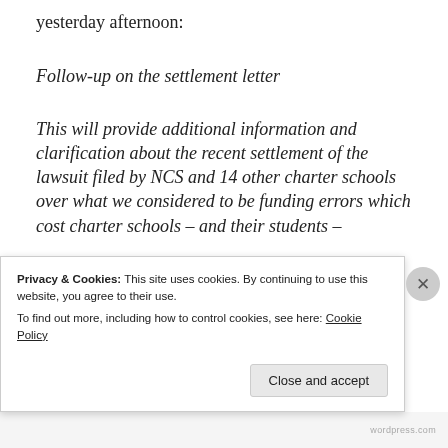yesterday afternoon:
Follow-up on the settlement letter
This will provide additional information and clarification about the recent settlement of the lawsuit filed by NCS and 14 other charter schools over what we considered to be funding errors which cost charter schools – and their students –
Privacy & Cookies: This site uses cookies. By continuing to use this website, you agree to their use.
To find out more, including how to control cookies, see here: Cookie Policy
wordpress.com